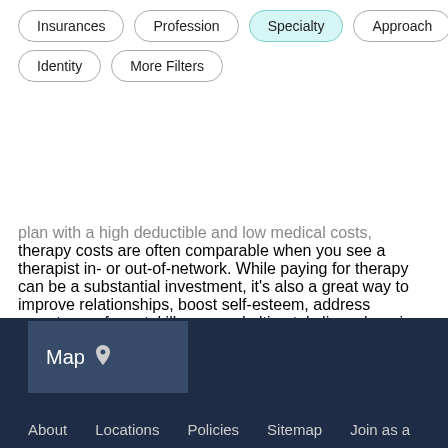Insurances | Profession | Specialty | Approach | Identity | More Filters
plan with a high deductible and low medical costs, therapy costs are often comparable when you see a therapist in- or out-of-network. While paying for therapy can be a substantial investment, it's also a great way to improve relationships, boost self-esteem, address symptoms of mental illness, and ultimately live a happier, more self-directed life.
Map  About  Locations  Policies  Sitemap  Join as a